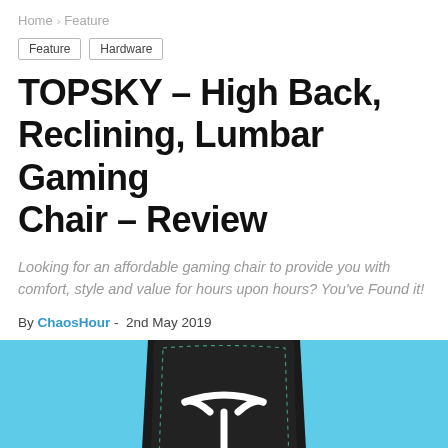Home > Feature
Feature
Hardware
TOPSKY – High Back, Reclining, Lumbar Gaming Chair – Review
Looking for an affordable gaming chair to provide you with comfort, style and value for hours upon hours? You've Found it!
By ChaosHour - 2nd May 2019
[Figure (photo): Close-up photo of a black gaming chair back with a white stitched Y/logo design, set against a cyan/light blue background.]